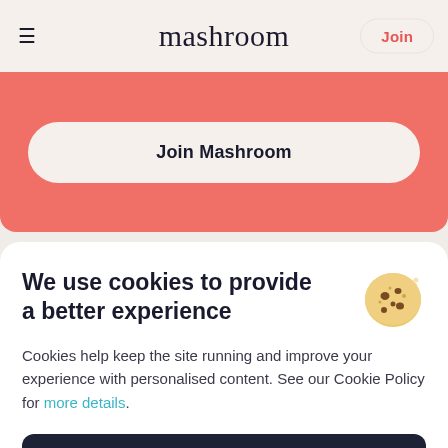mashroom | Join
Join Mashroom
We use cookies to provide a better experience
Cookies help keep the site running and improve your experience with personalised content. See our Cookie Policy for more details.
Accept & close